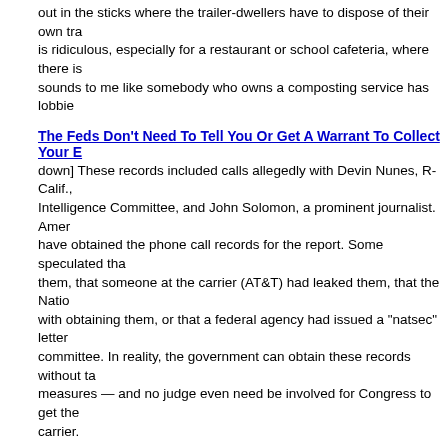out in the sticks where the trailer-dwellers have to dispose of their own tra... is ridiculous, especially for a restaurant or school cafeteria, where there is... sounds to me like somebody who owns a composting service has lobbie...
The Feds Don't Need To Tell You Or Get A Warrant To Collect Your E...
down]  These records included calls allegedly with Devin Nunes, R-Calif., Intelligence Committee, and John Solomon, a prominent journalist.  Amer... have obtained the phone call records for the report.  Some speculated tha... them, that someone at the carrier (AT&T) had leaked them, that the Natio... with obtaining them, or that a federal agency had issued a "natsec" letter committee.  In reality, the government can obtain these records without ta... measures — and no judge even need be involved for Congress to get the... carrier.
Virginia Dems Aim to Criminalize "Tactical Training."  A Trap for Gun...
forth a bill that would strengthen current state law against "paramilitary" a... persons with firearms.  The vague wording of Senate Bill No. 64 establish... paramilitary activity, punishable as a Class 5 felony" if he so much as has... group.  The threat of SB 64 to defenders of the Second Amendment is the... decided.
Virginia Senate Bill No. 64: Declaring Tactical Training Illegal
This is... refreshing thing is that the masks have all come off now.  With control of t... mansion, the controllers want you to know where they stand and are willi... possible terms.  Leaving aside the issue of whether one could ever demo... or receiving of tactical training, what they really intend is to render illegal a... fire and maneuver tactics, or any combination of training in long range pre... communications, or battle tactics, techniques and procedures.  Only LEO... remarkable thing is the stated reason: [...]
Virginia to outlaw Krav Maga, Brazilian Jiu Jitsu, kickboxing, Tai Ch...